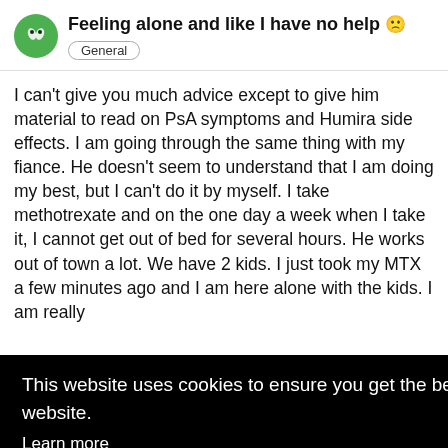Feeling alone and like I have no help 🙁
General
I can't give you much advice except to give him material to read on PsA symptoms and Humira side effects. I am going through the same thing with my fiance. He doesn't seem to understand that I am doing my best, but I can't do it by myself. I take methotrexate and on the one day a week when I take it, I cannot get out of bed for several hours. He works out of town a lot. We have 2 kids. I just took my MTX a few minutes ago and I am here alone with the kids. I am really [text continues behind overlay]
This website uses cookies to ensure you get the best experience on our website. Learn more
Got it!